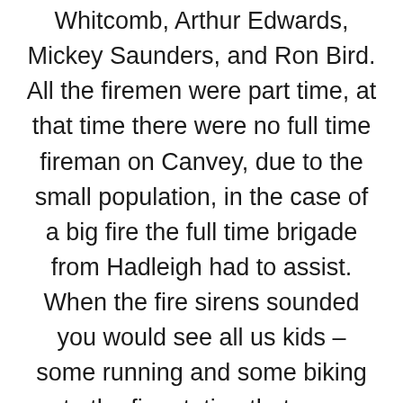Whitcomb, Arthur Edwards, Mickey Saunders, and Ron Bird. All the firemen were part time, at that time there were no full time fireman on Canvey, due to the small population, in the case of a big fire the full time brigade from Hadleigh had to assist. When the fire sirens sounded you would see all us kids – some running and some biking up to the fire station that was on the left hand side off the council offices,  the ambulance station was on the right hand side. (now the Health Centre etc) Just about every kid on Canvey that saw the fire engine going to a fire would try and follow it, (or it seemed that way) as it went down the road ringing its big bell that was on the end of a hand pulled rope! I